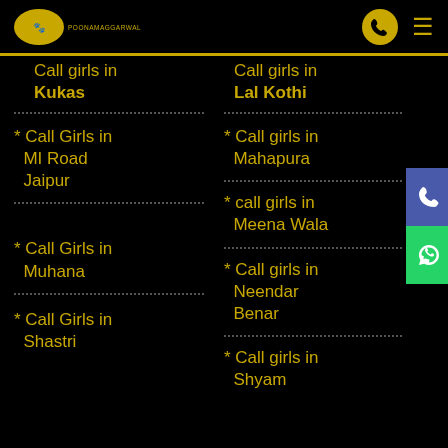POONAMAGGARWAL
Call girls in Kukas
Call girls in Lal Kothi
* Call Girls in MI Road Jaipur
* Call girls in Mahapura
* call girls in Meena Wala
* Call Girls in Muhana
* Call girls in Neendar Benar
* Call Girls in Shastri
* Call girls in Shyam